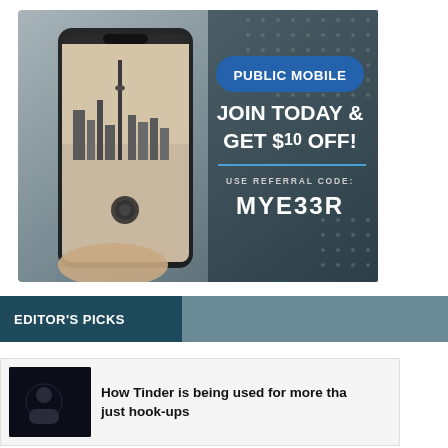[Figure (infographic): Public Mobile advertisement banner. Shows a hand holding a smartphone displaying a city skyline. Text reads: PUBLIC MOBILE, JOIN TODAY & GET $10 OFF!, USE REFERRAL CODE: MYE33R]
EDITOR'S PICKS
How Tinder is being used for more than just hook-ups